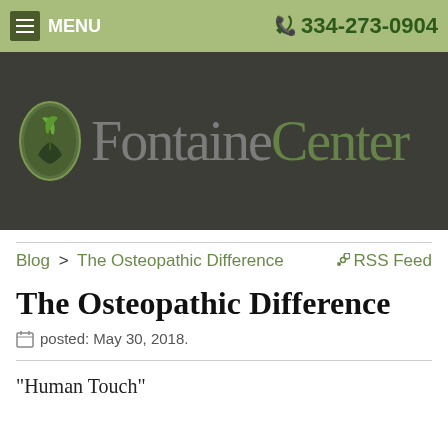MENU  334-273-0904
[Figure (logo): Fontaine Center logo with oval green plant/hand icon and large text 'FontaineCenter' on dark background]
Blog > The Osteopathic Difference   RSS Feed
The Osteopathic Difference
posted: May 30, 2018.
"Human Touch"